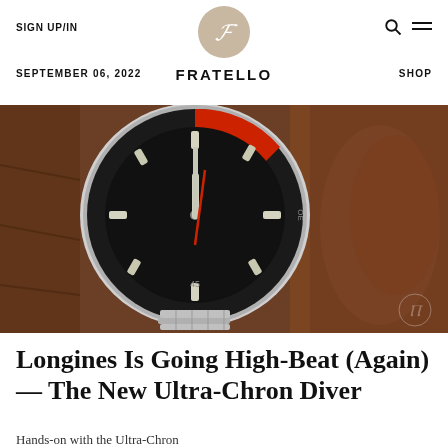SIGN UP/IN | FRATELLO | SHOP | SEPTEMBER 06, 2022
[Figure (photo): Close-up photograph of a Longines Ultra-Chron Diver watch with black dial, red accents, rotating bezel, and metal bracelet, resting on a brown leather surface]
Longines Is Going High-Beat (Again) — The New Ultra-Chron Diver
Hands-on with the Ultra-Chron